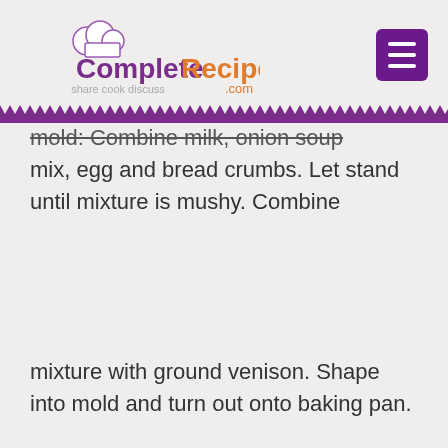CompleteRecipes.com — share cook discuss
mold: Combine milk, onion soup mix, egg and bread crumbs. Let stand until mixture is mushy. Combine
mixture with ground venison. Shape into mold and turn out onto baking pan.